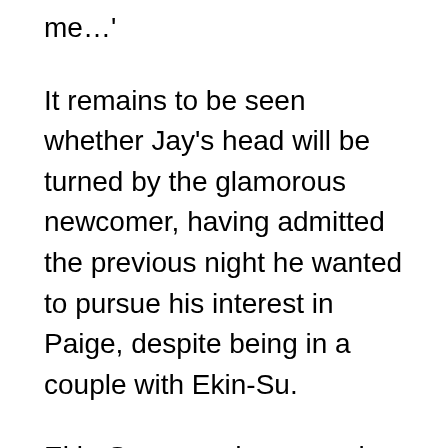me…'
It remains to be seen whether Jay's head will be turned by the glamorous newcomer, having admitted the previous night he wanted to pursue his interest in Paige, despite being in a couple with Ekin-Su.
Ekin-Su came dangerously close to being dumped from the villa after learning she was one of the three girls who received the least votes from the public on Monday night.
The Love Island boys were also left sweating as the girls prepared to welcome new bombshell hunk